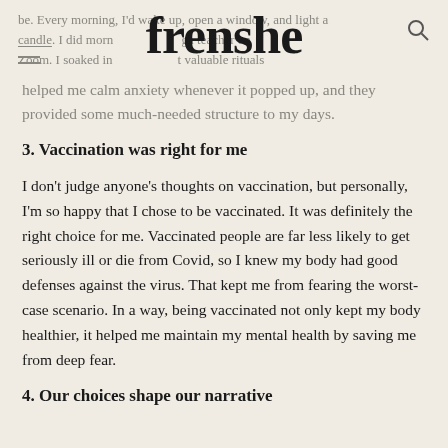frenshe
be. Every morning, I'd wake up, open a window, and light a candle. I did morning yoga with a yoga teacher on Zoom. I soaked in these rituals. Most valuable rituals helped me calm anxiety whenever it popped up, and they provided some much-needed structure to my days.
3. Vaccination was right for me
I don't judge anyone's thoughts on vaccination, but personally, I'm so happy that I chose to be vaccinated. It was definitely the right choice for me. Vaccinated people are far less likely to get seriously ill or die from Covid, so I knew my body had good defenses against the virus. That kept me from fearing the worst-case scenario. In a way, being vaccinated not only kept my body healthier, it helped me maintain my mental health by saving me from deep fear.
4. Our choices shape our narrative